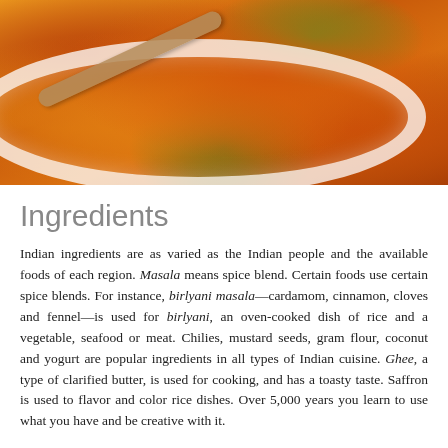[Figure (photo): A white bowl filled with Indian curry dish (orange/red sauce with vegetables and meat), garnished with fresh green cilantro leaves, with a wooden spoon visible in the bowl.]
Ingredients
Indian ingredients are as varied as the Indian people and the available foods of each region. Masala means spice blend. Certain foods use certain spice blends. For instance, birlyani masala—cardamom, cinnamon, cloves and fennel—is used for birlyani, an oven-cooked dish of rice and a vegetable, seafood or meat. Chilies, mustard seeds, gram flour, coconut and yogurt are popular ingredients in all types of Indian cuisine. Ghee, a type of clarified butter, is used for cooking, and has a toasty taste. Saffron is used to flavor and color rice dishes. Over 5,000 years you learn to use what you have and be creative with it.